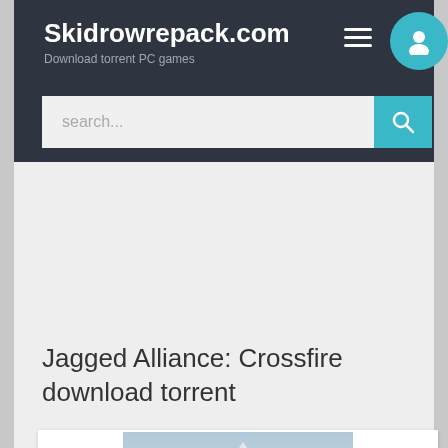Skidrowrepack.com — Download torrent PC games
Jagged Alliance: Crossfire download torrent
[Figure (photo): Game cover art for Jagged Alliance: Crossfire showing a soldier in winter/snow camouflage holding a weapon, with snowy mountain backdrop and the game logo 'JAGGED ALLIANCE CROSSFIRE' in bold orange and red stylized text at the bottom.]